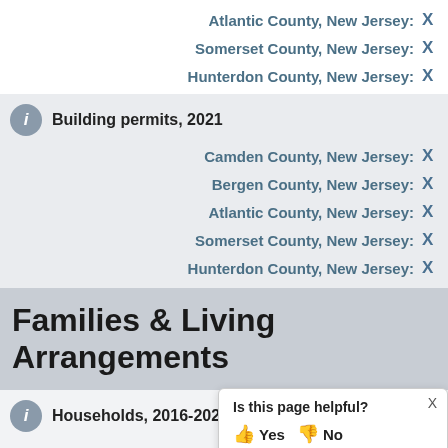Atlantic County, New Jersey: X
Somerset County, New Jersey: X
Hunterdon County, New Jersey: X
Building permits, 2021
Camden County, New Jersey: X
Bergen County, New Jersey: X
Atlantic County, New Jersey: X
Somerset County, New Jersey: X
Hunterdon County, New Jersey: X
Families & Living Arrangements
Households, 2016-2020
Camden County, New Jersey:
Bergen County, New Jersey: